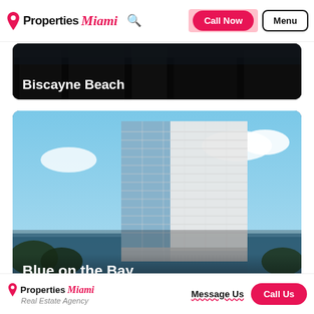Properties Miami — Call Now | Menu
[Figure (photo): Biscayne Beach property card with dark overlay and white text label]
Biscayne Beach
[Figure (photo): Blue on the Bay high-rise tower building against blue sky with water reflections]
Blue on the Bay
Properties Miami Real Estate Agency — Message Us | Call Us